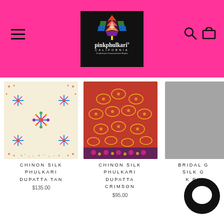pinkphulkari CALIFORNIA - Tradition•Innovation•Style
[Figure (photo): Cream/tan colored silk dupatta with colorful phulkari embroidery star patterns]
CHINON SILK PHULKARI DUPATTA TAN
$135.00
[Figure (photo): Red crimson colored silk dupatta with golden phulkari embroidery patterns and floral border]
CHINON SILK PHULKARI DUPATTA CRIMSON
$95.00
[Figure (photo): Partially visible third product - Bridal silk dupatta (cut off on right edge)]
BRIDAL G... SILK G... K PH... UPA...
$125...